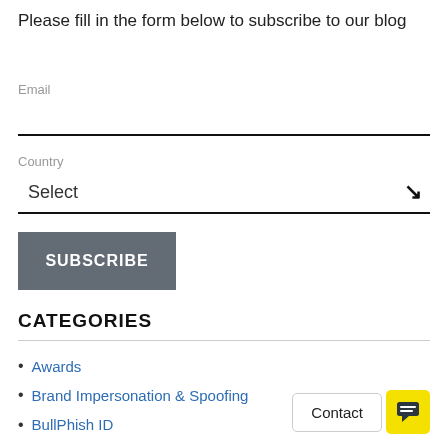Please fill in the form below to subscribe to our blog
Email
Country
Select
SUBSCRIBE
CATEGORIES
Awards
Brand Impersonation & Spoofing
BullPhish ID
Business Email Compromise
Cyber Resilience
Dark Web ID
Dark Web Threats